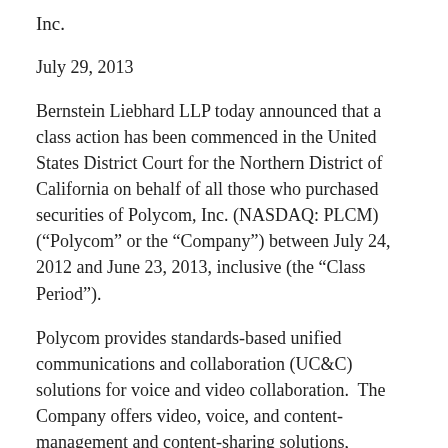Inc.
July 29, 2013
Bernstein Liebhard LLP today announced that a class action has been commenced in the United States District Court for the Northern District of California on behalf of all those who purchased securities of Polycom, Inc. (NASDAQ: PLCM) (“Polycom” or the “Company”) between July 24, 2012 and June 23, 2013, inclusive (the “Class Period”).
Polycom provides standards-based unified communications and collaboration (UC&C) solutions for voice and video collaboration.  The Company offers video, voice, and content-management and content-sharing solutions,